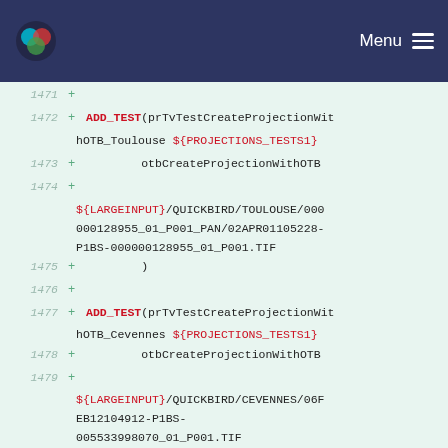Menu
[Figure (screenshot): Code diff view showing CMake test definitions for projection tests, lines 1471-1482]
1471 +
1472 + ADD_TEST(prTvTestCreateProjectionWithOTB_Toulouse ${PROJECTIONS_TESTS1}
1473 +         otbCreateProjectionWithOTB
1474 +
        ${LARGEINPUT}/QUICKBIRD/TOULOUSE/000000128955_01_P001_PAN/02APR01105228-P1BS-000000128955_01_P001.TIF
1475 +         )
1476 +
1477 + ADD_TEST(prTvTestCreateProjectionWithOTB_Cevennes ${PROJECTIONS_TESTS1}
1478 +         otbCreateProjectionWithOTB
1479 +
        ${LARGEINPUT}/QUICKBIRD/CEVENNES/06FEB12104912-P1BS-005533998070_01_P001.TIF
1480 +         )
1481 +
1482 + ENDIF(OTB_DATA_USE_LARGEINPUT)